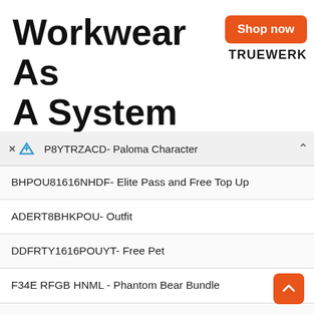[Figure (screenshot): Advertisement banner for Truewerk workwear with 'Shop now' orange button and brand logo]
P8YTRZACD- Paloma Character
BHPOU81616NHDF- Elite Pass and Free Top Up
ADERT8BHKPOU- Outfit
DDFRTY1616POUYT- Free Pet
F34E RFGB HNML - Phantom Bear Bundle
F0OLKJHB GFDE - Animal Weapon Loot Crate
F9IK JNBV FDER - Get Vandal Revolt Weapon Loot Crate
F3E4 RTGB NMKI - Shirou Free Fire Character
F2QA ZXCV BHNM - Sneaky Clown Weapon Loot Crate
F8IK MNBV CDSE- 1x Rebel Academy Weapon Loot Crate